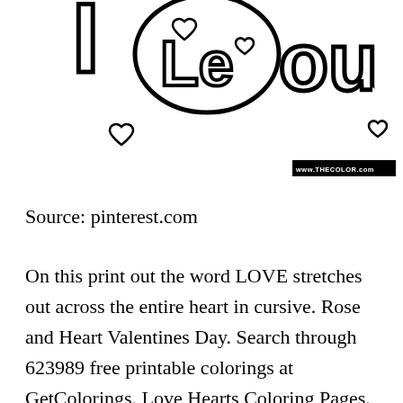[Figure (illustration): Partial view of a Valentine's Day coloring page showing the text 'I Love You' in bold outlined bubble letters with small outlined heart shapes scattered around. A watermark reads 'www.THECOLOR.com' in a black rectangle.]
Source: pinterest.com
On this print out the word LOVE stretches out across the entire heart in cursive. Rose and Heart Valentines Day. Search through 623989 free printable colorings at GetColorings. Love Hearts Coloring Pages. Great Images I Love You Coloring Pages